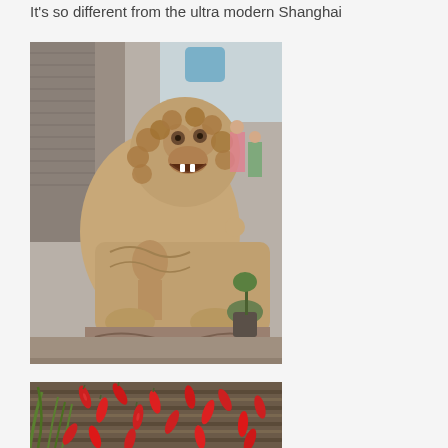It's so different from the ultra modern Shanghai
[Figure (photo): Close-up photograph of a traditional Chinese stone lion (foo dog/shishi) sculpture with intricate carvings including a smaller figure beneath it, set against a brick wall with green plants and people visible in the background.]
[Figure (photo): Photograph showing a wooden textured wall or surface decorated with red chili peppers and green plants/grass, appearing to be a decorative display.]